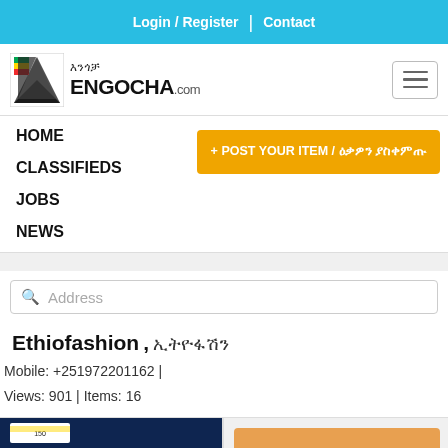Login / Register | Contact
[Figure (logo): Engocha.com logo with Amharic text and Ethiopian flag-colored icon]
HOME
CLASSIFIEDS
JOBS
NEWS
+ POST YOUR ITEM / ዕቃዎን ያስቀምጡ
Address (search field)
Ethiofashion , ኢትዮፋሽን
Mobile: +251972201162 |
Views: 901 | Items: 16
[Figure (photo): Product image showing blue packaging with text 45m/150ft]
[Figure (photo): Product image showing items on orange background]